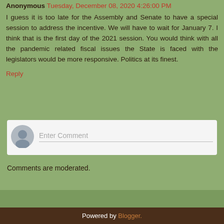Anonymous Tuesday, December 08, 2020 4:26:00 PM
I guess it is too late for the Assembly and Senate to have a special session to address the incentive. We will have to wait for January 7. I think that is the first day of the 2021 session. You would think with all the pandemic related fiscal issues the State is faced with the legislators would be more responsive. Politics at its finest.
Reply
[Figure (screenshot): Comment input box with avatar icon and 'Enter Comment' placeholder text]
Comments are moderated.
< | Home | > | View web version | Powered by Blogger.